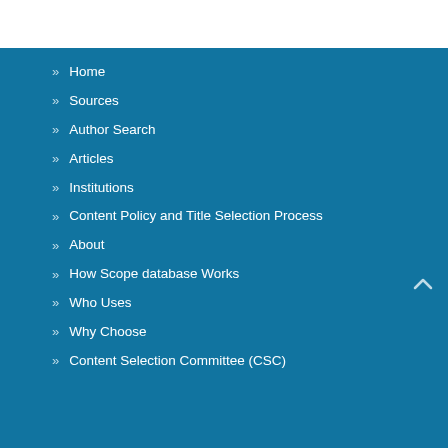» Home
» Sources
» Author Search
» Articles
» Institutions
» Content Policy and Title Selection Process
» About
» How Scope database Works
» Who Uses
» Why Choose
» Content Selection Committee (CSC)